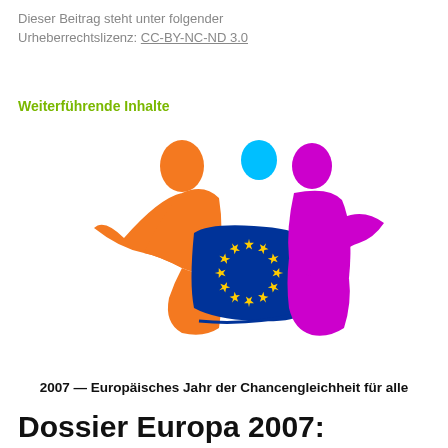Dieser Beitrag steht unter folgender Urheberrechtslizenz: CC-BY-NC-ND 3.0
Weiterführende Inhalte
[Figure (logo): Logo of the European Year of Equal Opportunities for All 2007 — showing two stylized figures (orange and magenta) flanking a blue EU flag with gold stars, and a small cyan circle above]
2007 — Europäisches Jahr der Chancengleichheit für alle
Dossier Europa 2007: